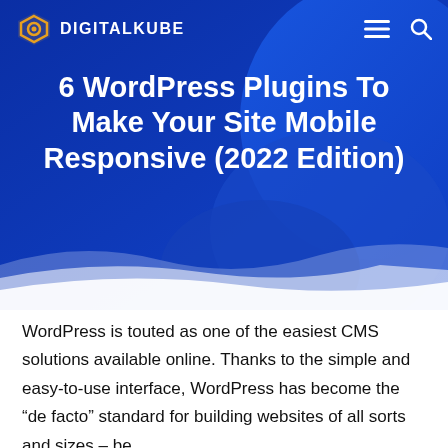DIGITALKUBE
6 WordPress Plugins To Make Your Site Mobile Responsive (2022 Edition)
[Figure (illustration): Blue gradient hero background with curved decorative shapes in various shades of blue]
WordPress is touted as one of the easiest CMS solutions available online. Thanks to the simple and easy-to-use interface, WordPress has become the “de facto” standard for building websites of all sorts and sizes – be